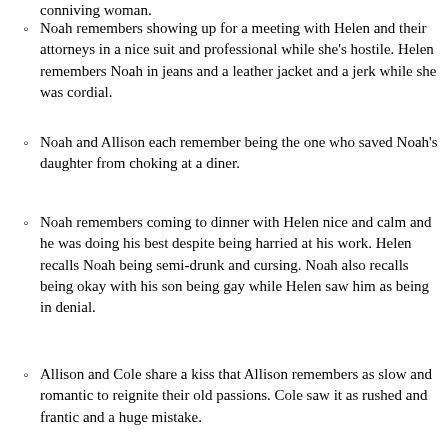conniving woman.
Noah remembers showing up for a meeting with Helen and their attorneys in a nice suit and professional while she's hostile. Helen remembers Noah in jeans and a leather jacket and a jerk while she was cordial.
Noah and Allison each remember being the one who saved Noah's daughter from choking at a diner.
Noah remembers coming to dinner with Helen nice and calm and he was doing his best despite being harried at his work. Helen recalls Noah being semi-drunk and cursing. Noah also recalls being okay with his son being gay while Helen saw him as being in denial.
Allison and Cole share a kiss that Allison remembers as slow and romantic to reignite their old passions. Cole saw it as rushed and frantic and a huge mistake.
A truly dark example in the penultimate episode of season 4. From Ben's perspective, his talk with Allison